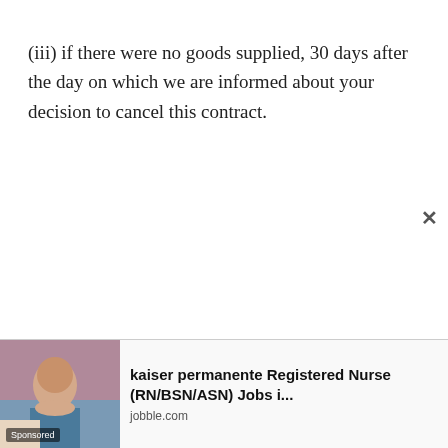(iii) if there were no goods supplied, 30 days after the day on which we are informed about your decision to cancel this contract.